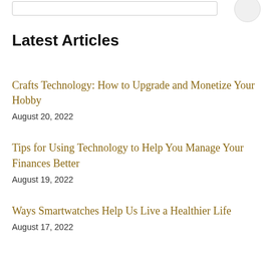Latest Articles
Crafts Technology: How to Upgrade and Monetize Your Hobby
August 20, 2022
Tips for Using Technology to Help You Manage Your Finances Better
August 19, 2022
Ways Smartwatches Help Us Live a Healthier Life
August 17, 2022